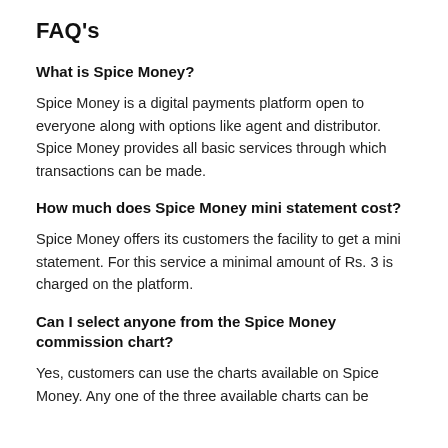FAQ's
What is Spice Money?
Spice Money is a digital payments platform open to everyone along with options like agent and distributor. Spice Money provides all basic services through which transactions can be made.
How much does Spice Money mini statement cost?
Spice Money offers its customers the facility to get a mini statement. For this service a minimal amount of Rs. 3 is charged on the platform.
Can I select anyone from the Spice Money commission chart?
Yes, customers can use the charts available on Spice Money. Any one of the three available charts can be